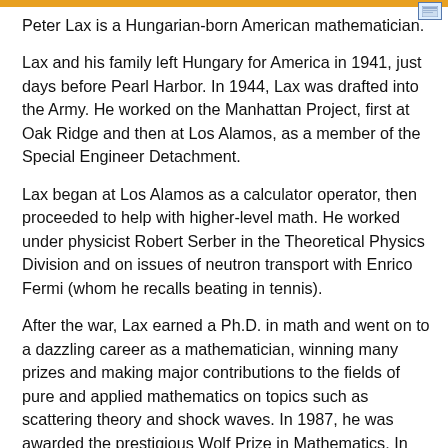Peter Lax is a Hungarian-born American mathematician.
Lax and his family left Hungary for America in 1941, just days before Pearl Harbor. In 1944, Lax was drafted into the Army. He worked on the Manhattan Project, first at Oak Ridge and then at Los Alamos, as a member of the Special Engineer Detachment.
Lax began at Los Alamos as a calculator operator, then proceeded to help with higher-level math. He worked under physicist Robert Serber in the Theoretical Physics Division and on issues of neutron transport with Enrico Fermi (whom he recalls beating in tennis).
After the war, Lax earned a Ph.D. in math and went on to a dazzling career as a mathematician, winning many prizes and making major contributions to the fields of pure and applied mathematics on topics such as scattering theory and shock waves. In 1987, he was awarded the prestigious Wolf Prize in Mathematics. In 2005, he won the Abel Prize, the equivalent of the Nobel Prize for mathematicians.